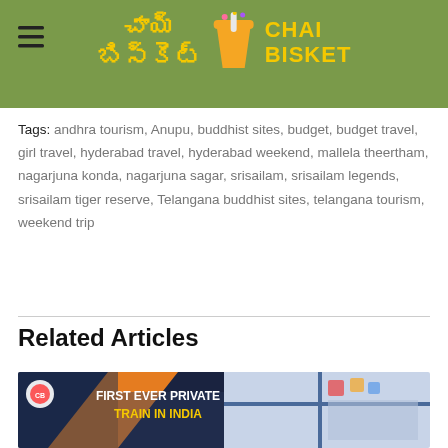Chai Bisket - logo header
Tags: andhra tourism, Anupu, buddhist sites, budget, budget travel, girl travel, hyderabad travel, hyderabad weekend, mallela theertham, nagarjuna konda, nagarjuna sagar, srisailam, srisailam legends, srisailam tiger reserve, Telangana buddhist sites, telangana tourism, weekend trip
Related Articles
[Figure (photo): Thumbnail image with text overlay 'FIRST EVER PRIVATE TRAIN IN INDIA' showing women in traditional dress near a train and two men seated inside a train compartment, with Chai Bisket logo.]